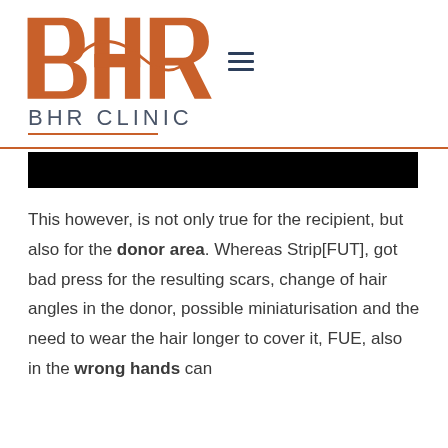[Figure (logo): BHR Clinic logo — stylized interlocking B, H, R letters in orange/copper color with a horizontal menu icon to the right]
BHR CLINIC
This however, is not only true for the recipient, but also for the donor area. Whereas Strip[FUT], got bad press for the resulting scars, change of hair angles in the donor, possible miniaturisation and the need to wear the hair longer to cover it, FUE, also in the wrong hands can